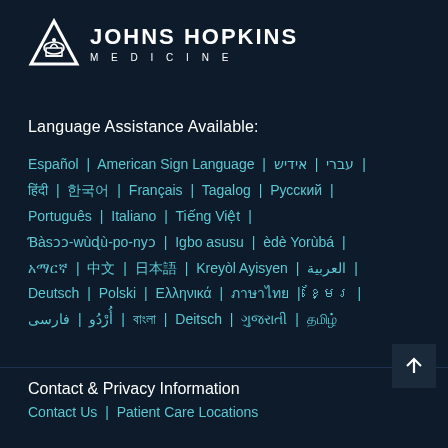[Figure (logo): Johns Hopkins Medicine logo with triangular icon and text]
Language Assistance Available:
Español | American Sign Language | עברי | אידיש | हिंदी | 한국어 | Français | Tagalog | Русский | Português | Italiano | Tiếng Việt | Ɓàsɔɔ-wùɖù-po-nyɔ | Igbo asusu | èdè Yorùbá | አማርኛ | 中文 | 日本語 | Kreyòl Ayisyen | العربية | Deutsch | Polski | Ελληνικά | ภาษาไทย | ខ្មែរ | أُرْدُو | فارسی | বাংলা | Deitsch | ગુજરાતી | தமிழ்
Contact & Privacy Information
Contact Us | Patient Care Locations